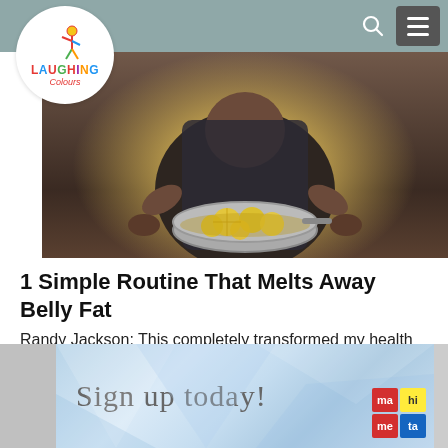Laughing Colours
[Figure (photo): Person holding a pot with lemon slices, cooking in a kitchen]
1 Simple Routine That Melts Away Belly Fat
Randy Jackson: This completely transformed my health
Health Gut Boost | Sponsored ADVERTISEMENT
[Figure (screenshot): Advertisement banner with blue geometric background saying 'Sign up today!' with Maheta logo]